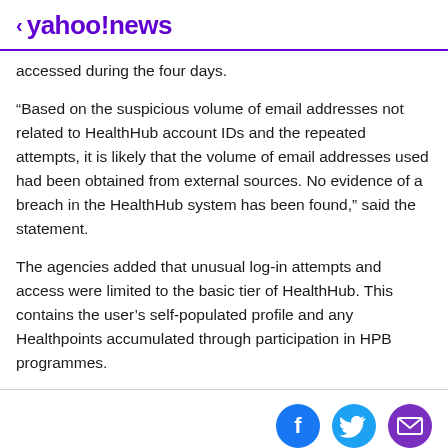< yahoo!news
accessed during the four days.
“Based on the suspicious volume of email addresses not related to HealthHub account IDs and the repeated attempts, it is likely that the volume of email addresses used had been obtained from external sources. No evidence of a breach in the HealthHub system has been found,” said the statement.
The agencies added that unusual log-in attempts and access were limited to the basic tier of HealthHub. This contains the user’s self-populated profile and any Healthpoints accumulated through participation in HPB programmes.
[Figure (infographic): Social share bar with Facebook, Twitter, and email icons]